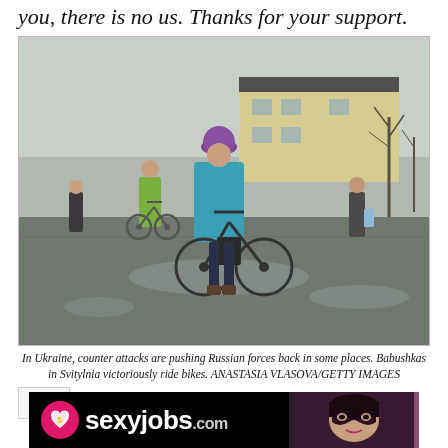you, there is no us. Thanks for your support.
[Figure (photo): Women with bicycles on a muddy street in Svitylnia, Ukraine, with puddles on the ground and a yellow building in the background. A woman in a teal jacket and purple hat stands prominently in the foreground with her bicycle.]
In Ukraine, counter attacks are pushing Russian forces back in some places. Babushkas in Svitylnia victoriously ride bikes. ANASTASIA VLASOVA/GETTY IMAGES
[Figure (screenshot): Advertisement banner for sexyjobs.com showing the website logo with a pink heart containing a dollar sign, bold white text reading 'sexyjobs.com', and a woman in a masquerade mask on the right side.]